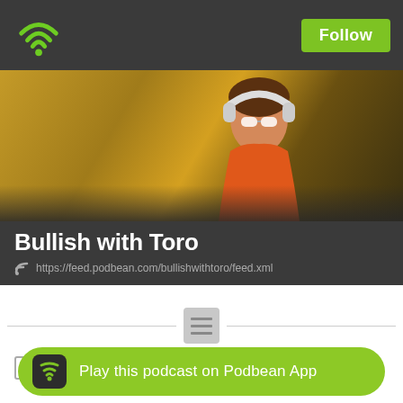Follow
[Figure (screenshot): Podcast app top navigation bar with wifi/podcast logo on left and green Follow button on right, dark gray background]
[Figure (photo): Banner photo of a person with sunglasses and headphones in an outdoor field setting]
Bullish with Toro
https://feed.podbean.com/bullishwithtoro/feed.xml
[Figure (other): Horizontal divider with hamburger/menu icon in center]
BwT ▶ Bullish with Shanice
August 21, 2022
On episode 4, I interview my favorite Bajan hairstylist... Shanice!
We chat about the need to set goals and stay focused in environments that may distract you, her interest in becoming a mortician,
Bullish is being hopeful or confident that something or someone
[Figure (other): Green pill-shaped Podbean app play bar at bottom with podcast app icon and text 'Play this podcast on Podbean App']